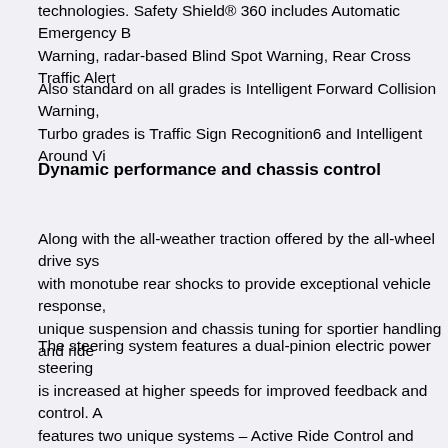technologies. Safety Shield® 360 includes Automatic Emergency Braking Warning, radar-based Blind Spot Warning, Rear Cross Traffic Alert
Also standard on all grades is Intelligent Forward Collision Warning. Turbo grades is Traffic Sign Recognition6 and Intelligent Around Vi
Dynamic performance and chassis control
Along with the all-weather traction offered by the all-wheel drive system with monotube rear shocks to provide exceptional vehicle response, unique suspension and chassis tuning for sportier handling and ride
The steering system features a dual-pinion electric power steering is increased at higher speeds for improved feedback and control. A features two unique systems – Active Ride Control and Intelligent T